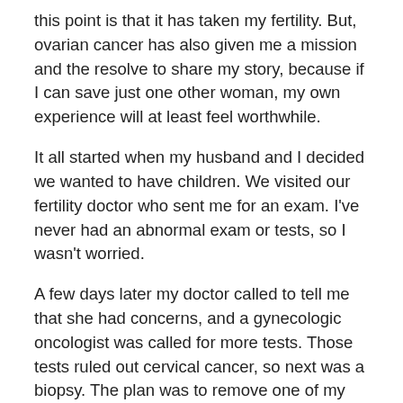this point is that it has taken my fertility. But, ovarian cancer has also given me a mission and the resolve to share my story, because if I can save just one other woman, my own experience will at least feel worthwhile.
It all started when my husband and I decided we wanted to have children. We visited our fertility doctor who sent me for an exam. I've never had an abnormal exam or tests, so I wasn't worried.
A few days later my doctor called to tell me that she had concerns, and a gynecologic oncologist was called for more tests. Those tests ruled out cervical cancer, so next was a biopsy. The plan was to remove one of my fallopian tubes and one ovary to test for ovarian cancer while I was in surgery. When my gyn onc opened me up, the biopsy confirmed stage IIIC serous low-grade ovarian cancer. My ovaries had displaced my other organs (my bladder was flat as a pancake, which explained why I constantly had to pee), and the cancer had spread to both ovaries, the lining of my abdomen and was in the